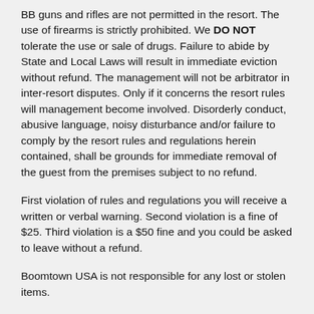BB guns and rifles are not permitted in the resort. The use of firearms is strictly prohibited. We DO NOT tolerate the use or sale of drugs. Failure to abide by State and Local Laws will result in immediate eviction without refund. The management will not be arbitrator in inter-resort disputes. Only if it concerns the resort rules will management become involved. Disorderly conduct, abusive language, noisy disturbance and/or failure to comply by the resort rules and regulations herein contained, shall be grounds for immediate removal of the guest from the premises subject to no refund.
First violation of rules and regulations you will receive a written or verbal warning. Second violation is a fine of $25. Third violation is a $50 fine and you could be asked to leave without a refund.
Boomtown USA is not responsible for any lost or stolen items.